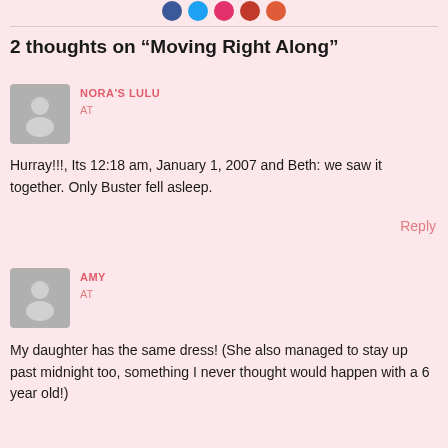[Figure (illustration): Partial view of social share icon circles (blue, red, pink, orange colors) at top of page]
2 thoughts on “Moving Right Along”
NORA'S LULU
AT
Hurray!!!, Its 12:18 am, January 1, 2007 and Beth: we saw it together. Only Buster fell asleep.
Reply
AMY
AT
My daughter has the same dress! (She also managed to stay up past midnight too, something I never thought would happen with a 6 year old!)